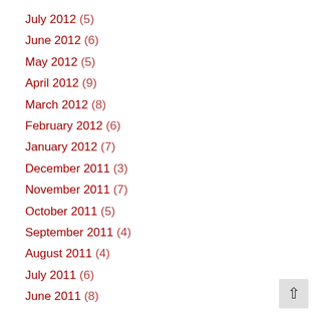July 2012 (5)
June 2012 (6)
May 2012 (5)
April 2012 (9)
March 2012 (8)
February 2012 (6)
January 2012 (7)
December 2011 (3)
November 2011 (7)
October 2011 (5)
September 2011 (4)
August 2011 (4)
July 2011 (6)
June 2011 (8)